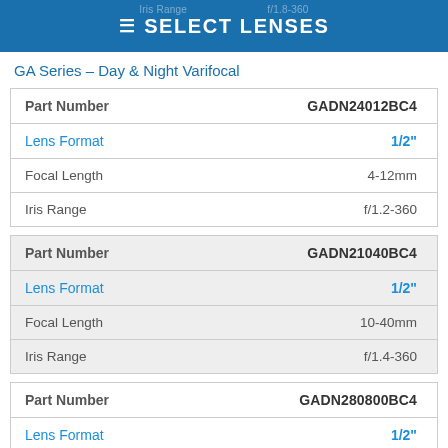≡ SELECT LENSES
GA Series – Day & Night Varifocal
| Part Number | GADN24012BC4 |
| --- | --- |
| Lens Format | 1/2" |
| Focal Length | 4-12mm |
| Iris Range | f/1.2-360 |
| Part Number | GADN21040BC4 |
| --- | --- |
| Lens Format | 1/2" |
| Focal Length | 10-40mm |
| Iris Range | f/1.4-360 |
| Part Number | GADN280800BC4 |
| --- | --- |
| Lens Format | 1/2" |
SUBSCRIBE TO GOYO NEWS